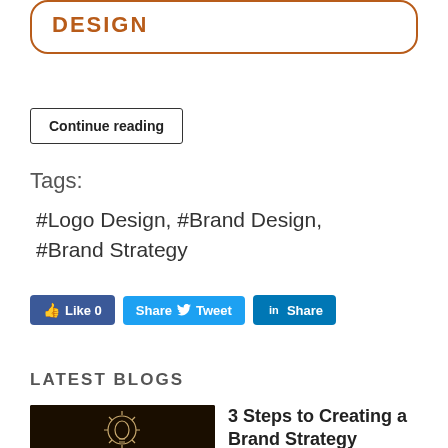DESIGN
Continue reading
Tags:
#Logo Design, #Brand Design, #Brand Strategy
[Figure (other): Social media buttons: Like 0, Share Tweet, in Share]
LATEST BLOGS
[Figure (photo): Dark background image with lightbulb icon]
3 Steps to Creating a Brand Strategy